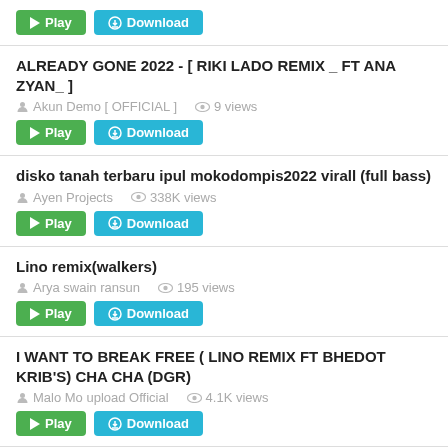Play / Download (first item, no title shown)
ALREADY GONE 2022 - [ RIKI LADO REMIX _ FT ANA ZYAN_ ] | Akun Demo [ OFFICIAL ] | 9 views
disko tanah terbaru ipul mokodompis2022 virall (full bass) | Ayen Projects | 338K views
Lino remix(walkers) | Arya swain ransun | 195 views
I WANT TO BREAK FREE ( LINO REMIX FT BHEDOT KRIB'S) CHA CHA (DGR) | Malo Mo upload Official | 4.1K views
DJ TIKTOK REMIX TERBARU 2022 - DJ BERAWAL DARI TEMENAN X AKU TITIPKAN DIA | REMIX VIRAL TERBARU